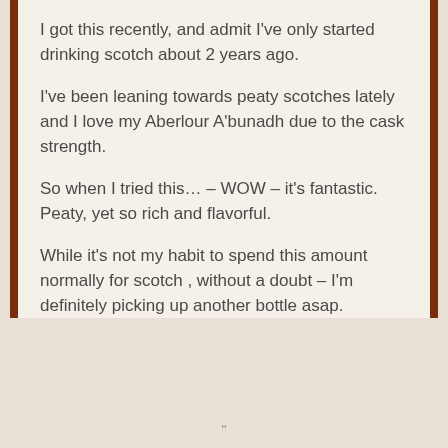I got this recently, and admit I've only started drinking scotch about 2 years ago.
I've been leaning towards peaty scotches lately and I love my Aberlour A'bunadh due to the cask strength.
So when I tried this… – WOW – it's fantastic. Peaty, yet so rich and flavorful.
While it's not my habit to spend this amount normally for scotch , without a doubt – I'm definitely picking up another bottle asap.